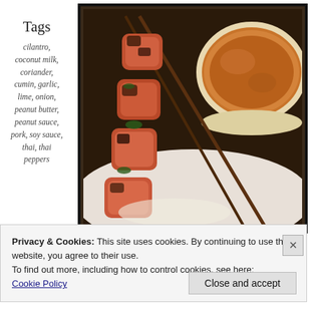Tags
cilantro, coconut milk, coriander, cumin, garlic, lime, onion, peanut butter, peanut sauce, pork, soy sauce, thai, thai peppers
[Figure (photo): Grilled pork skewers on a white plate with a bowl of peanut dipping sauce]
Privacy & Cookies: This site uses cookies. By continuing to use this website, you agree to their use.
To find out more, including how to control cookies, see here: Cookie Policy
Close and accept